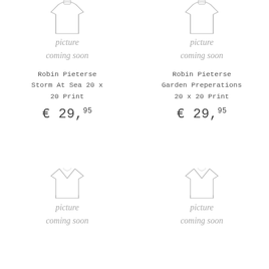[Figure (illustration): Outline drawing of a sweater/shirt with 'picture coming soon' cursive text below — top left product]
Robin Pieterse Storm At Sea 20 x 20 Print
€ 29,95
[Figure (illustration): Outline drawing of a sweater/shirt with 'picture coming soon' cursive text below — top right product]
Robin Pieterse Garden Preperations 20 x 20 Print
€ 29,95
[Figure (illustration): Outline drawing of a v-neck sweater with 'picture coming soon' cursive text below — bottom left product]
[Figure (illustration): Outline drawing of a v-neck sweater with 'picture coming soon' cursive text below — bottom right product]